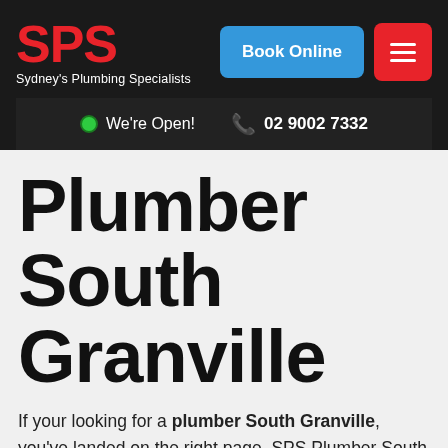[Figure (logo): SPS logo in bold red text with tagline 'Sydney's Plumbing Specialists' in white underneath, on dark background]
[Figure (other): Blue 'Book Online' button and red hamburger menu button on dark header]
We're Open!   02 9002 7332
Plumber South Granville
If your looking for a plumber South Granville, you've landed on the right page. SPS Plumber South Granville is local award winning plumbing company